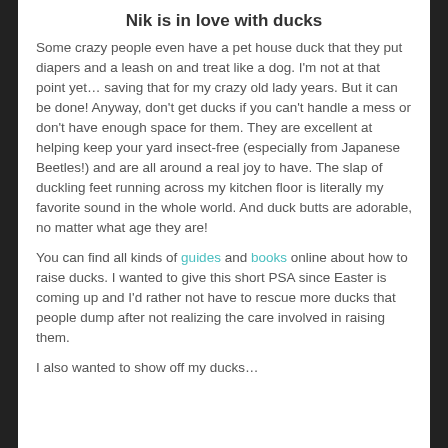Nik is in love with ducks
Some crazy people even have a pet house duck that they put diapers and a leash on and treat like a dog. I'm not at that point yet… saving that for my crazy old lady years. But it can be done! Anyway, don't get ducks if you can't handle a mess or don't have enough space for them. They are excellent at helping keep your yard insect-free (especially from Japanese Beetles!) and are all around a real joy to have. The slap of duckling feet running across my kitchen floor is literally my favorite sound in the whole world. And duck butts are adorable, no matter what age they are!
You can find all kinds of guides and books online about how to raise ducks. I wanted to give this short PSA since Easter is coming up and I'd rather not have to rescue more ducks that people dump after not realizing the care involved in raising them.
I also wanted to show off my ducks…